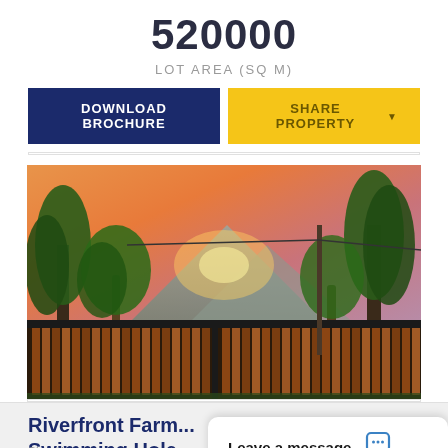520000
LOT AREA (SQ M)
DOWNLOAD BROCHURE
SHARE PROPERTY
[Figure (photo): Tropical property gate scene at sunset with lush green palm trees and mountain in background, wooden fence gate visible]
Riverfront Farm... Swimming Hole...
Leave a message